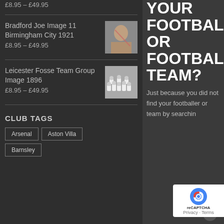£8.95 – £49.95
Bradford Joe Image 11 Birmingham City 1921
£8.95 – £49.95
Leicester Fosse Team Group Image 1896
£8.95 – £49.95
CLUB TAGS
Arsenal
Aston Villa
Barnsley
YOUR FOOTBALLER OR FOOTBALL TEAM?
Just because you did not find your footballer or team by searchin…